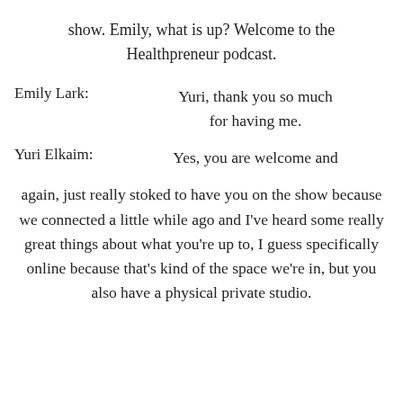show. Emily, what is up? Welcome to the Healthpreneur podcast.
Emily Lark:                Yuri, thank you so much for having me.
Yuri Elkaim:              Yes, you are welcome and again, just really stoked to have you on the show because we connected a little while ago and I’ve heard some really great things about what you’re up to, I guess specifically online because that’s kind of the space we’re in, but you also have a physical private studio.